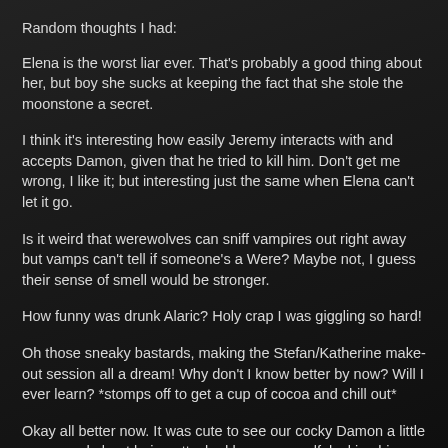Random thoughts I had:
Elena is the worst liar ever.  That's probably a good thing about her, but boy she sucks at keeping the fact that she stole the moonstone a secret.
I think it's interesting how easily Jeremy interacts with and accepts Damon, given that he tried to kill him.  Don't get me wrong, I like it; but interesting just the same when Elena can't let it go.
Is it weird that werewolves can sniff vampires out right away but vamps can't tell if someone's a Were?  Maybe not, I guess their sense of smell would be stronger.
How funny was drunk Alaric?  Holy crap I was giggling so hard!
Oh those sneaky bastards, making the Stefan/Katherine make-out session all a dream!  Why don't I know better by now?  Will I ever learn?  *stomps off to get a cup of cocoa and chill out*
Okay all better now.  It was cute to see our cocky Damon a little concerned about being attacked by a werewolf, locking his front door